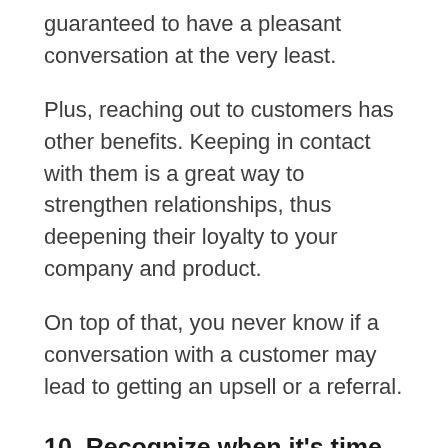guaranteed to have a pleasant conversation at the very least.
Plus, reaching out to customers has other benefits. Keeping in contact with them is a great way to strengthen relationships, thus deepening their loyalty to your company and product.
On top of that, you never know if a conversation with a customer may lead to getting an upsell or a referral.
10. Recognize when it’s time to ask for help